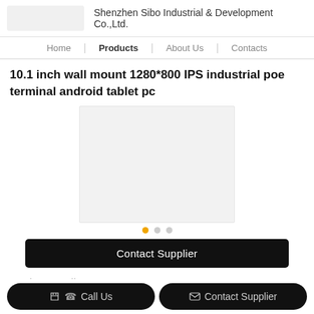Shenzhen Sibo Industrial & Development Co.,Ltd.
Home
Products
About Us
Contacts
10.1 inch wall mount 1280*800 IPS industrial poe terminal android tablet pc
[Figure (photo): Product image placeholder - light gray square box]
Contact Supplier
Product Details
Call Us
Contact Supplier